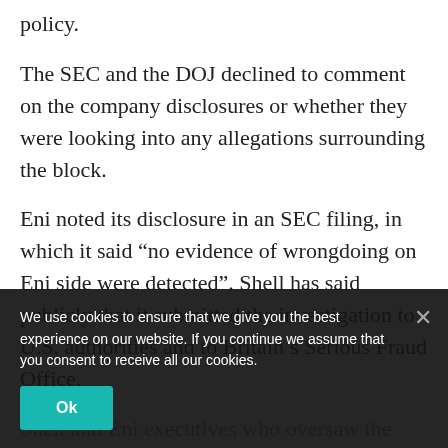policy.
The SEC and the DOJ declined to comment on the company disclosures or whether they were looking into any allegations surrounding the block.
Eni noted its disclosure in an SEC filing, in which it said “no evidence of wrongdoing on Eni side were detected”. Shell has said publicly that it submitted the investigation to U.S. authorities and to Britain’s Serious Fraud Office.
Shell and Eni executives who oversaw the deal say their payments for the block, a total of $1.3 billion, were to the rent, legal and went directly into an escrow account
We use cookies to ensure that we give you the best experience on our website. If you continue we assume that you consent to receive all our cookies.